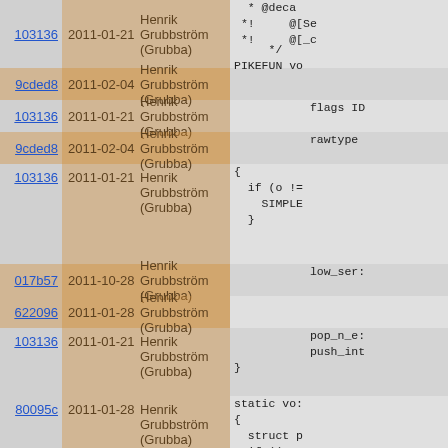| Commit | Date | Author | Code |
| --- | --- | --- | --- |
| 103136 | 2011-01-21 | Henrik Grubbström (Grubba) | */
PIKEFUN vo |
| 9cded8 | 2011-02-04 | Henrik Grubbström (Grubba) |  |
| 103136 | 2011-01-21 | Henrik Grubbström (Grubba) | flags ID |
| 9cded8 | 2011-02-04 | Henrik Grubbström (Grubba) | rawtype |
| 103136 | 2011-01-21 | Henrik Grubbström (Grubba) | {
  if (o !=
    SIMPLE
  } |
| 017b57 | 2011-10-28 | Henrik Grubbström (Grubba) | low_ser: |
| 622096 | 2011-01-28 | Henrik Grubbström (Grubba) |  |
| 103136 | 2011-01-21 | Henrik Grubbström (Grubba) | pop_n_e:
push_int
} |
| 80095c | 2011-01-28 | Henrik Grubbström (Grubba) | static vo:
{
  struct p
  if ((t-:
  p = id_t
  if (!p
  (low |